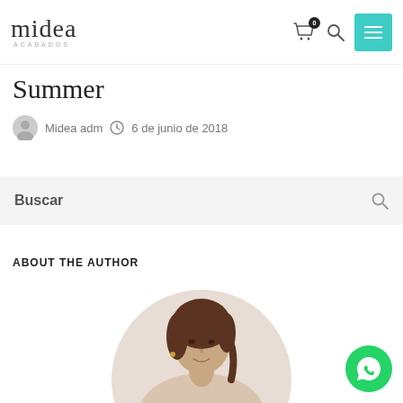Midea Acabados — navigation header with logo, cart (0), search, and menu
Summer
Midea adm   6 de junio de 2018
Buscar
ABOUT THE AUTHOR
[Figure (photo): Circular cropped portrait photo of a smiling young woman with brown hair, wearing a light-coloured knit sweater, against a beige/cream background.]